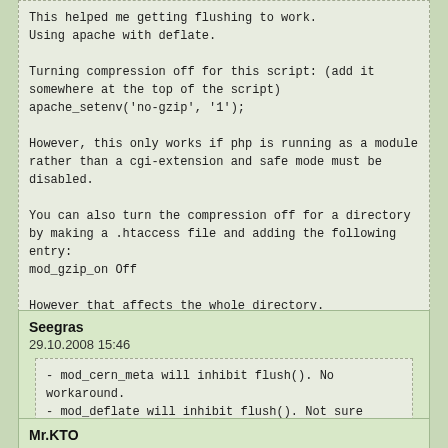This helped me getting flushing to work.
Using apache with deflate.

Turning compression off for this script: (add it somewhere at the top of the script)
apache_setenv('no-gzip', '1');

However, this only works if php is running as a module rather than a cgi-extension and safe mode must be disabled.

You can also turn the compression off for a directory by making a .htaccess file and adding the following entry:
mod_gzip_on Off

However that affects the whole directory.
Hope I could help.
Seegras
29.10.2008 15:46
- mod_cern_meta will inhibit flush(). No workaround.
- mod_deflate will inhibit flush(). Not sure whether there is a workaround.
- The default-rules of mod_security will inhibit flush() as well. There is a workaround:
SecResponseBodyAccess Off
Mr.KTO
12.10.2008 15:14
IE 7, Opera 9.6, any. All is quite simple. Today I just